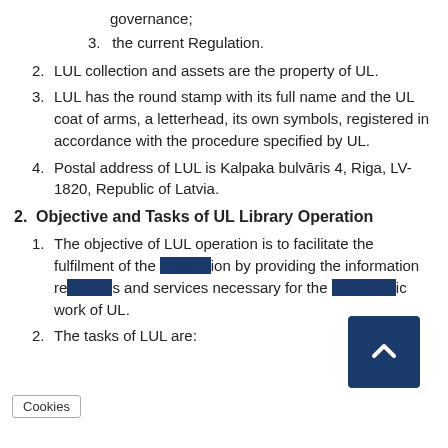governance;
3. the current Regulation.
2. LUL collection and assets are the property of UL.
3. LUL has the round stamp with its full name and the UL coat of arms, a letterhead, its own symbols, registered in accordance with the procedure specified by UL.
4. Postal address of LUL is Kalpaka bulvāris 4, Riga, LV-1820, Republic of Latvia.
2. Objective and Tasks of UL Library Operation
1. The objective of LUL operation is to facilitate the fulfilment of the [mission] by providing the information re[source]s and services necessary for the academic work of UL.
2. The tasks of LUL are: